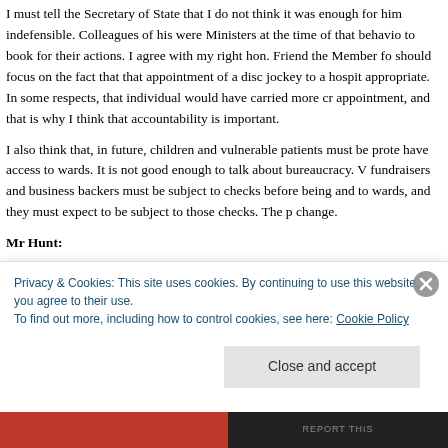I must tell the Secretary of State that I do not think it was enough for him indefensible. Colleagues of his were Ministers at the time of that behavio to book for their actions. I agree with my right hon. Friend the Member fo should focus on the fact that that appointment of a disc jockey to a hospit appropriate. In some respects, that individual would have carried more cr appointment, and that is why I think that accountability is important.
I also think that, in future, children and vulnerable patients must be prote have access to wards. It is not good enough to talk about bureaucracy. V fundraisers and business backers must be subject to checks before being and to wards, and they must expect to be subject to those checks. The p change.
Mr Hunt:
We do need more robust checks. However, I can tell the hon. Lady that I victims and have said that if some of the reasons given in the reports
Privacy & Cookies: This site uses cookies. By continuing to use this website, you agree to their use.
To find out more, including how to control cookies, see here: Cookie Policy
Close and accept